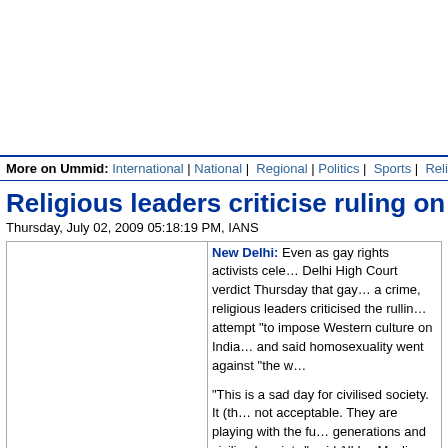More on Ummid: International | National |  Regional | Politics |  Sports |  Religion | History | Culture | Edu
Religious leaders criticise ruling on gay sex
Thursday, July 02, 2009 05:18:19 PM, IANS
New Delhi: Even as gay rights activists celebrated the Delhi High Court verdict Thursday that gay sex is not a crime, religious leaders criticised the ruling as an attempt "to impose Western culture on India" and said homosexuality went against "the w..."
"This is a sad day for civilised society. It (the ruling) is not acceptable. They are playing with the future of generations and civilised society," said All India Muslim Personal Law Board's Kamal Faroo...
"Scrapping such a law is not justified. This is an attempt to impose Western culture on Indian society,...
Delhi High Court legalises gay sex: In a judgment that can open a Pandora's box, the